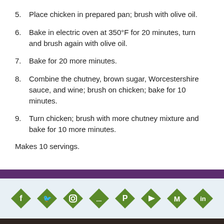5. Place chicken in prepared pan; brush with olive oil.
6. Bake in electric oven at 350°F for 20 minutes, turn and brush again with olive oil.
7. Bake for 20 more minutes.
8. Combine the chutney, brown sugar, Worcestershire sauce, and wine; brush on chicken; bake for 10 minutes.
9. Turn chicken; brush with more chutney mixture and bake for 10 more minutes.
Makes 10 servings.
Privacy Policy | Terms of Use | Site Map